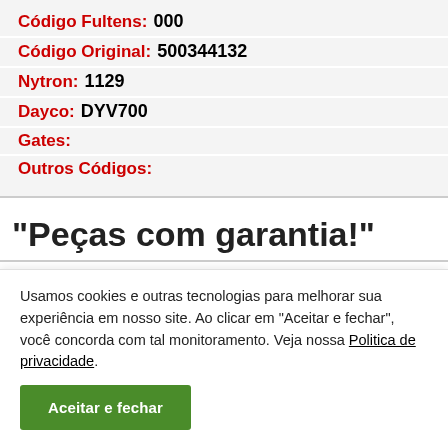Código Fultens: 000
Código Original: 500344132
Nytron: 1129
Dayco: DYV700
Gates:
Outros Códigos:
“Peças com garantia!”
Usamos cookies e outras tecnologias para melhorar sua experiência em nosso site. Ao clicar em “Aceitar e fechar”, você concorda com tal monitoramento. Veja nossa Politica de privacidade.
Aceitar e fechar